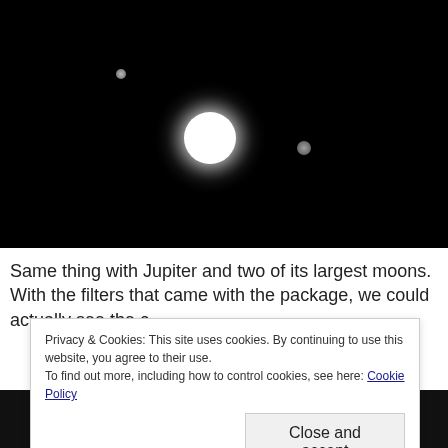[Figure (photo): Astronomical photograph showing Jupiter as a bright white glowing circle in the center against a black night sky background, with two smaller moons visible — one to the upper left and one to the right.]
Same thing with Jupiter and two of its largest moons.  With the filters that came with the package, we could actually see the c
Privacy & Cookies: This site uses cookies. By continuing to use this website, you agree to their use.
To find out more, including how to control cookies, see here: Cookie Policy
Close and accept
[Figure (photo): Partial view of a grey moon or lunar surface at the bottom of the page.]